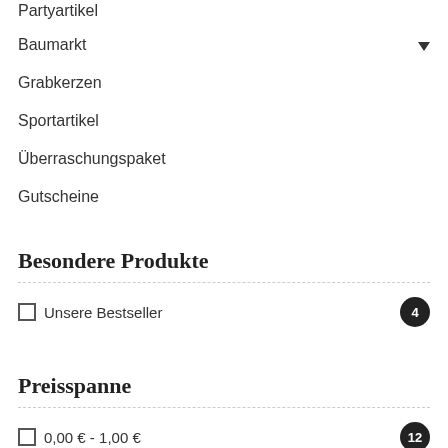Partyartikel
Baumarkt
Grabkerzen
Sportartikel
Überraschungspaket
Gutscheine
Besondere Produkte
Unsere Bestseller  4
Preisspanne
0,00 € - 1,00 €  12